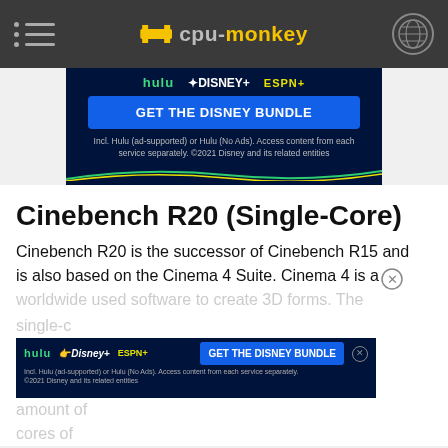cpu-monkey navigation header
[Figure (screenshot): Disney Bundle advertisement banner showing Hulu, Disney+, ESPN+ logos and 'GET THE DISNEY BUNDLE' button]
Cinebench R20 (Single-Core)
Cinebench R20 is the successor of Cinebench R15 and is also based on the Cinema 4 Suite. Cinema 4 is a worldwide used software to create 3D forms. The single-core ... amount of cores of ...
[Figure (screenshot): Disney Bundle inline advertisement showing Hulu, Disney+, ESPN+ and GET THE DISNEY BUNDLE button with fine print]